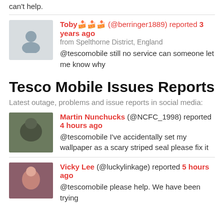can't help.
Toby🍰🍰🍰 (@berringer1889) reported 3 years ago from Spelthorne District, England @tescomobile still no service can someone let me know why
Tesco Mobile Issues Reports
Latest outage, problems and issue reports in social media:
Martin Nunchucks (@NCFC_1998) reported 4 hours ago @tescomobile I've accidentally set my wallpaper as a scary striped seal please fix it
Vicky Lee (@luckylinkage) reported 5 hours ago @tescomobile please help. We have been trying